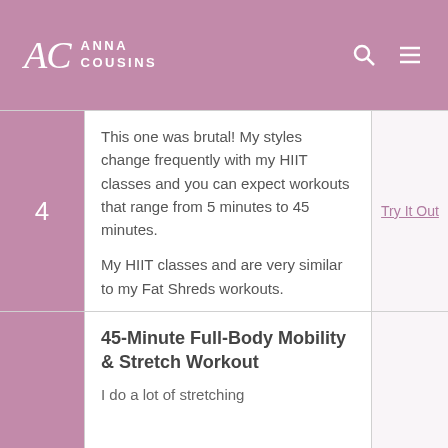AC Anna Cousins
This one was brutal! My styles change frequently with my HIIT classes and you can expect workouts that range from 5 minutes to 45 minutes.

My HIIT classes and are very similar to my Fat Shreds workouts.
Try It Out
45-Minute Full-Body Mobility & Stretch Workout
I do a lot of stretching...